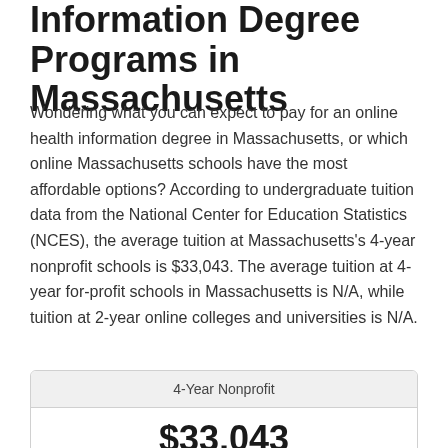Information Degree Programs in Massachusetts
Wondering what you can expect to pay for an online health information degree in Massachusetts, or which online Massachusetts schools have the most affordable options? According to undergraduate tuition data from the National Center for Education Statistics (NCES), the average tuition at Massachusetts's 4-year nonprofit schools is $33,043. The average tuition at 4-year for-profit schools in Massachusetts is N/A, while tuition at 2-year online colleges and universities is N/A.
| 4-Year Nonprofit |
| --- |
| $33,043 |